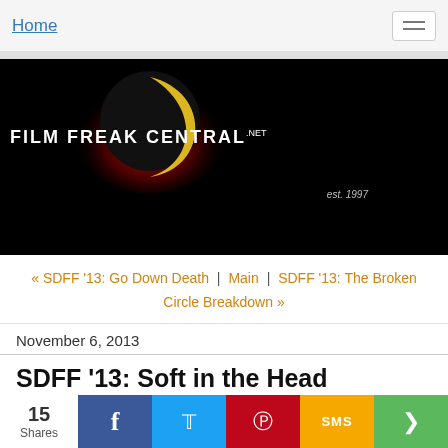Home
[Figure (logo): Film Freak Central logo with eclipse/moon graphic on black background, est. 1997]
« SDFF '13: Go Down Death | Main | SDFF '13: The Broken Circle Breakdown »
November 6, 2013
SDFF '13: Soft in the Head
15 Shares